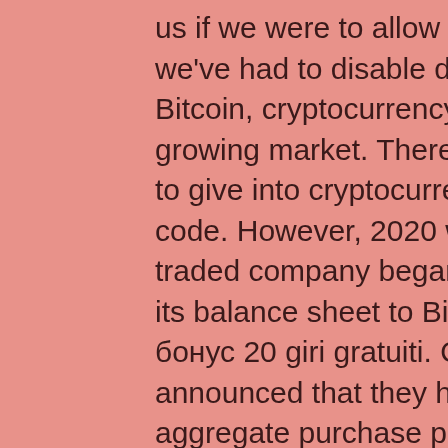us if we were to allow you to play on our provably fair site, we've had to disable deposits for USA players. Thanks to Bitcoin, cryptocurrency and blockchain is a rapidly growing market. There are some industries still reluctant to give into cryptocurrency, bitstarz бездепозитный бонус code. However, 2020 would be the first time a publicly-traded company began to allocate a substantial portion of its balance sheet to Bitcoin, bitstarz бездепозитный бонус 20 giri gratuiti. On August 11th, 2020 MicroStrategy announced that they had purchased 21,454 Bitcoins at an aggregate purchase price of $250 million. Your alien character will increase in power as he passes through the levels. As the level difficulty increases over time, so does the amount of Bitcoin you receive, bitstarz бездепозитный бонус 20 gratissnurr. Your alien character will increase in power as he